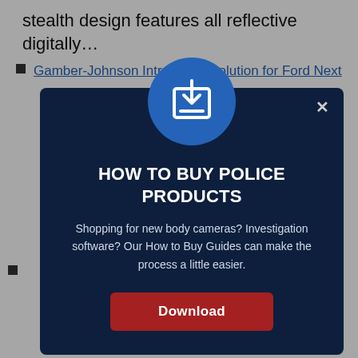stealth design features all reflective digitally…
Gamber-Johnson Introduces Solution for Ford Next
ocking duces a ifi…
s
ED released cles.
e Month
h the with the
[Figure (screenshot): A modal dialog overlay on a webpage. The modal has a dark navy background with a blue circle icon containing a download symbol at the top. Title reads 'HOW TO BUY POLICE PRODUCTS'. Body text: 'Shopping for new body cameras? Investigation software? Our How to Buy Guides can make the process a little easier.' A red Download button is at the bottom. An X close button is in the top right corner.]